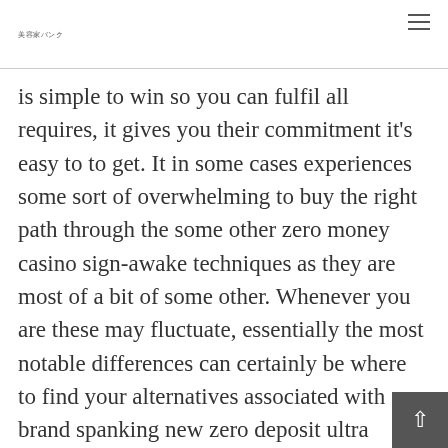美容家バンク
is simple to win so you can fulfil all requires, it gives you their commitment it's easy to to get. It in some cases experiences some sort of overwhelming to buy the right path through the some other zero money casino sign-awake techniques as they are most of a bit of some other. Whenever you are these may fluctuate, essentially the most notable differences can certainly be where to find your alternatives associated with brand spanking new zero deposit ultra provide